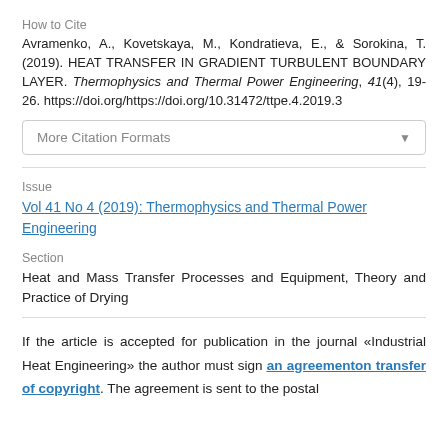How to Cite
Avramenko, A., Kovetskaya, M., Kondratieva, E., & Sorokina, T. (2019). HEAT TRANSFER IN GRADIENT TURBULENT BOUNDARY LAYER. Thermophysics and Thermal Power Engineering, 41(4), 19-26. https://doi.org/https://doi.org/10.31472/ttpe.4.2019.3
More Citation Formats
Issue
Vol 41 No 4 (2019): Thermophysics and Thermal Power Engineering
Section
Heat and Mass Transfer Processes and Equipment, Theory and Practice of Drying
If the article is accepted for publication in the journal «Industrial Heat Engineering» the author must sign an agreementon transfer of copyright. The agreement is sent to the postal